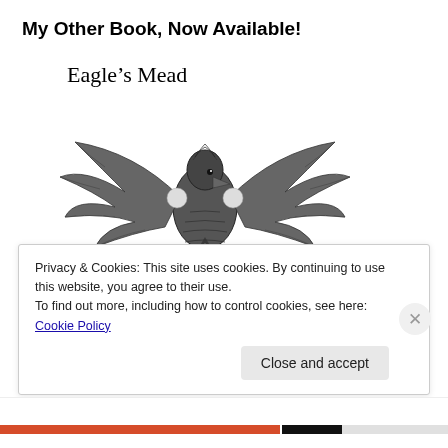My Other Book, Now Available!
[Figure (illustration): Book cover illustration for 'Eagle's Mead' showing a detailed black and white drawing of an eagle with spread wings perched above a Valknut (three interlocked triangles) symbol]
Privacy & Cookies: This site uses cookies. By continuing to use this website, you agree to their use.
To find out more, including how to control cookies, see here: Cookie Policy
Close and accept